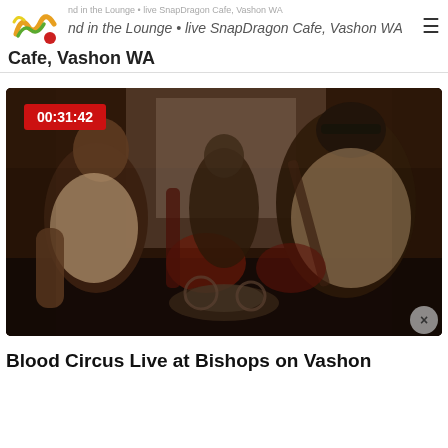nd in the Lounge • live SnapDragon Cafe, Vashon WA
[Figure (photo): Video thumbnail showing musicians performing live on stage. Two guitarists visible, one in a white sleeveless shirt on the left, another in a light shirt on the right. Dark, warm-toned indoor venue. A red timestamp overlay reads 00:31:42 in the upper left. A close button (×) appears in the lower right corner.]
Blood Circus Live at Bishops on Vashon